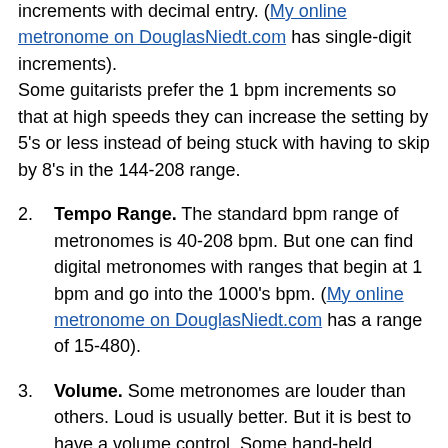increments with decimal entry. (My online metronome on DouglasNiedt.com has single-digit increments).
Some guitarists prefer the 1 bpm increments so that at high speeds they can increase the setting by 5's or less instead of being stuck with having to skip by 8's in the 144-208 range.
2. Tempo Range. The standard bpm range of metronomes is 40-208 bpm. But one can find digital metronomes with ranges that begin at 1 bpm and go into the 1000's bpm. (My online metronome on DouglasNiedt.com has a range of 15-480).
3. Volume. Some metronomes are louder than others. Loud is usually better. But it is best to have a volume control. Some hand-held metronomes have a volume control. Phone app metronomes of